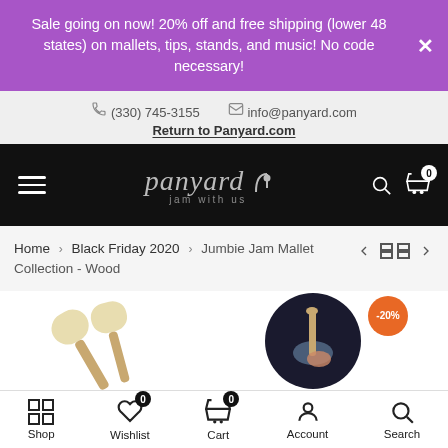Sale going on now! 20% off and free shipping (lower 48 states) on mallets, tips, stands, and music! No code necessary!
(330) 745-3155   info@panyard.com
Return to Panyard.com
[Figure (logo): Panyard logo with musical note and tagline 'jam with us' on black navigation bar]
Home › Black Friday 2020 › Jumbie Jam Mallet Collection - Wood
[Figure (photo): Product images: two wooden mallets with beige felt tips on the left, and a circular image of a hand holding a mallet striking a steel pan drum on the right, with -20% orange badge]
Shop
Wishlist
Cart
Account
Search